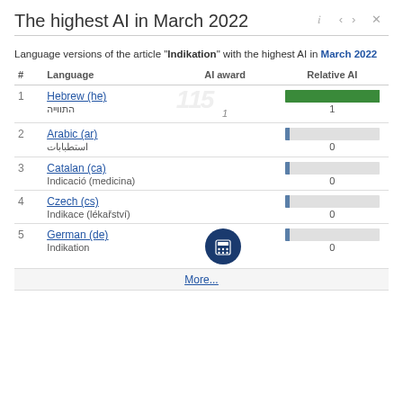The highest AI in March 2022
Language versions of the article "Indikation" with the highest AI in March 2022
| # | Language | AI award | Relative AI |
| --- | --- | --- | --- |
| 1 | Hebrew (he) / התווייה |  | 1 |
| 2 | Arabic (ar) / استطبابات |  | 0 |
| 3 | Catalan (ca) / Indicació (medicina) |  | 0 |
| 4 | Czech (cs) / Indikace (lékařství) |  | 0 |
| 5 | German (de) / Indikation |  | 0 |
More...